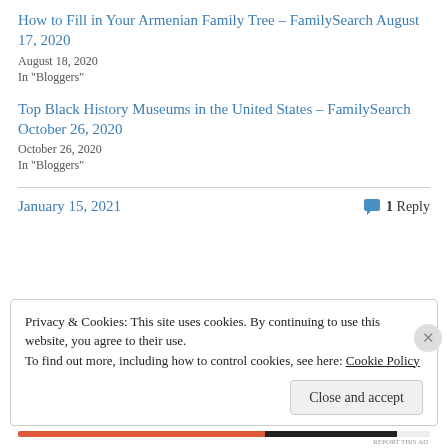How to Fill in Your Armenian Family Tree – FamilySearch August 17, 2020
August 18, 2020
In "Bloggers"
Top Black History Museums in the United States – FamilySearch October 26, 2020
October 26, 2020
In "Bloggers"
January 15, 2021
1 Reply
Privacy & Cookies: This site uses cookies. By continuing to use this website, you agree to their use.
To find out more, including how to control cookies, see here: Cookie Policy